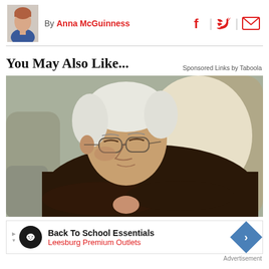By Anna McGuinness
You May Also Like...
Sponsored Links by Taboola
[Figure (photo): Elderly man with white hair and glasses sleeping in an armchair with arms crossed, wearing a dark cable-knit sweater over a plaid shirt]
[Figure (infographic): Advertisement banner: Back To School Essentials - Leesburg Premium Outlets, with circular black logo with infinity symbol, blue diamond arrow icon, and small navigation arrows on left]
Advertisement